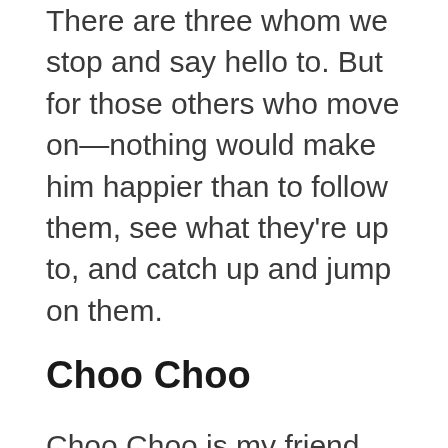There are three whom we stop and say hello to. But for those others who move on—nothing would make him happier than to follow them, see what they're up to, and catch up and jump on them.
Choo Choo
Choo Choo is my friend and partner's chihuahua mix. She had a rough start in life and has many fears. Over several years, she has learned to go for walks. She enjoys it and has become very courageous about new things and exploring on a microscale. Her behavior is an interesting mixture. When she sees people, she